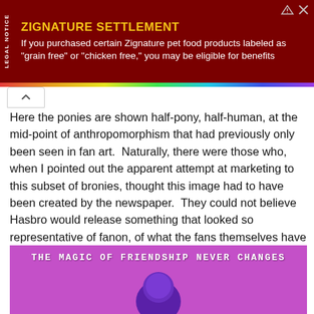[Figure (other): Legal notice advertisement banner for Zignature Settlement with dark red background, gold title and white body text]
Here the ponies are shown half-pony, half-human, at the mid-point of anthropomorphism that had previously only been seen in fan art.  Naturally, there were those who, when I pointed out the apparent attempt at marketing to this subset of bronies, thought this image had to have been created by the newspaper.  They could not believe Hasbro would release something that looked so representative of fanon, of what the fans themselves have created.  And yet, the official website for the movie as well as its poster again show the image of Twlight Sparkle in this fanon form.
[Figure (photo): Pink/purple My Little Pony movie promotional image with text 'THE MAGIC OF FRIENDSHIP NEVER CHANGES' and a purple pony character head at the bottom]